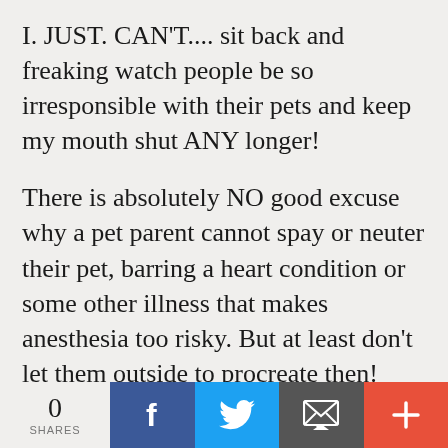I. JUST. CAN'T.... sit back and freaking watch people be so irresponsible with their pets and keep my mouth shut ANY longer!
There is absolutely NO good excuse why a pet parent cannot spay or neuter their pet, barring a heart condition or some other illness that makes anesthesia too risky. But at least don't let them outside to procreate then!
Please spread the word. Share this post if you think it will help! It's 'Kitten Season' in rescue world. And SO many rescues and shelters are already
0 SHARES | Facebook | Twitter | Email | More